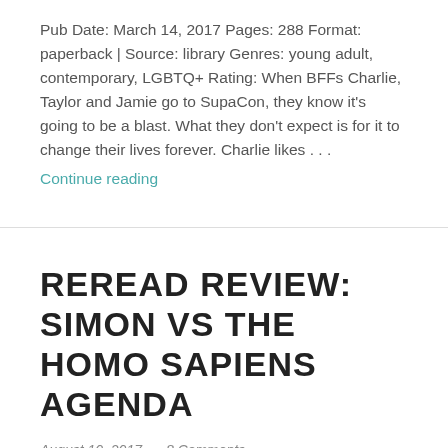Pub Date: March 14, 2017 Pages: 288 Format: paperback | Source: library Genres: young adult, contemporary, LGBTQ+ Rating: When BFFs Charlie, Taylor and Jamie go to SupaCon, they know it's going to be a blast. What they don't expect is for it to change their lives forever. Charlie likes . . .
Continue reading
REREAD REVIEW: SIMON VS THE HOMO SAPIENS AGENDA
August 10, 2017   8 Comments
Simon vs. the Homo Sapiens Agenda by Becky Albertalli Published by: Balzer + Bray Pub Date: April 7, 2015 Pages: 320 Format: hardcover | Source: purchased Genres: young